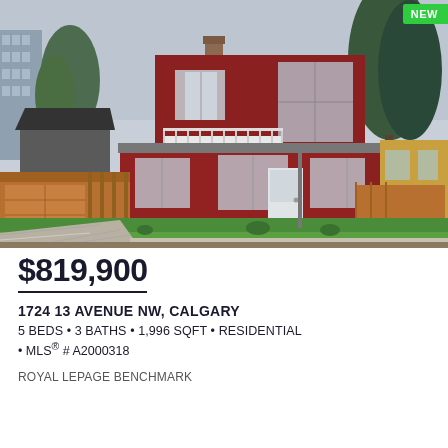[Figure (photo): Exterior photo of a two-story red wood-sided residential home with white balcony railing, multiple windows, front lawn, paved driveway, adjacent wooden fence and garage, neighboring buildings visible, overcast sky. A green 'NEW' badge in top right corner.]
$819,900
1724 13 AVENUE NW, CALGARY
5 BEDS • 3 BATHS • 1,996 SQFT • RESIDENTIAL • MLS® # A2000318
ROYAL LEPAGE BENCHMARK